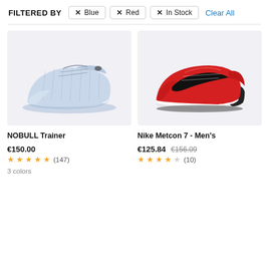FILTERED BY  × Blue  × Red  × In Stock  Clear All
[Figure (photo): NOBULL Trainer shoe — light blue/grey knit upper with blue translucent sole, side profile view on light grey background]
NOBULL Trainer
€150.00
★★★★★ (147)
3 colors
[Figure (photo): Nike Metcon 7 - Men's shoe — red upper with black Nike swoosh, white midsole, black heel, side profile view on light grey background]
Nike Metcon 7 - Men's
€125.84  €156.09
★★★★☆ (10)